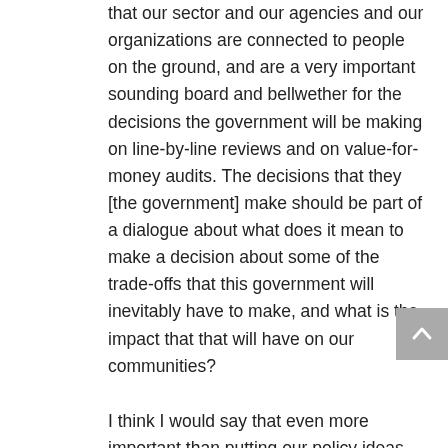that our sector and our agencies and our organizations are connected to people on the ground, and are a very important sounding board and bellwether for the decisions the government will be making on line-by-line reviews and on value-for-money audits. The decisions that they [the government] make should be part of a dialogue about what does it mean to make a decision about some of the trade-offs that this government will inevitably have to make, and what is the impact that that will have on our communities?
I think I would say that even more important than putting our policy ideas forward, that right now the most important value that we can put on the table is that dialogue with